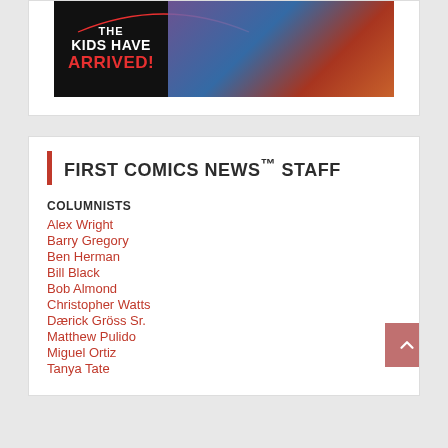[Figure (illustration): Advertisement banner for a comic series with dark background, red arc accent, bold white text 'THE KIDS HAVE ARRIVED!' with 'ARRIVED!' in red, and colorful comic character art on the right side.]
FIRST COMICS NEWS™ STAFF
COLUMNISTS
Alex Wright
Barry Gregory
Ben Herman
Bill Black
Bob Almond
Christopher Watts
Dærick Gröss Sr.
Matthew Pulido
Miguel Ortiz
Tanya Tate